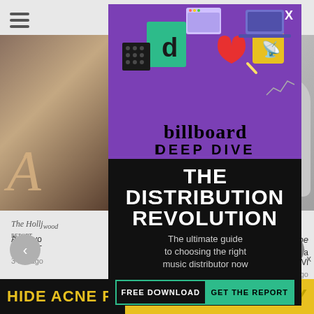[Figure (screenshot): Website screenshot showing a Billboard Deep Dive promotional modal overlay on a news website. The modal has a purple top section with TikTok-themed illustrations, 'billboard DEEP DIVE' branding, and a black bottom section with 'THE DISTRIBUTION REVOLUTION' headline, subtitle 'The ultimate guide to choosing the right music distributor now', and a green CTA button row with 'FREE DOWNLOAD' and 'GET THE REPORT'. Behind the modal are blurred article thumbnails and navigation elements. At the bottom is an ad banner reading 'HIDE ACNE FOR $24' and 'SPY'.]